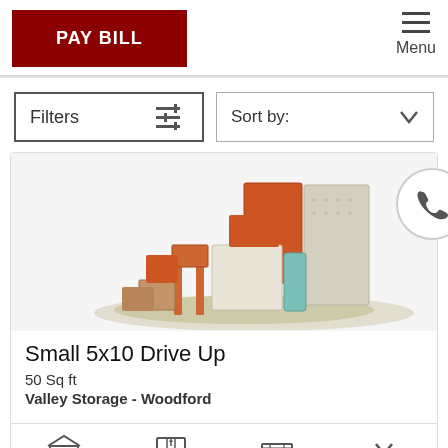[Figure (screenshot): PAY BILL red button in header]
[Figure (screenshot): Hamburger menu icon with Menu label]
[Figure (screenshot): Filters button with sliders icon]
[Figure (screenshot): Sort by dropdown]
[Figure (screenshot): Phone icon in circular button]
[Figure (photo): 3D illustration of storage unit contents - boxes, furniture items in orange, teal, white, cream colors]
Small 5x10 Drive Up
50 Sq ft
Valley Storage - Woodford
[Figure (infographic): Feature icons row: Exterior Door, Drive Up, Roll Up Door, Ground Level]